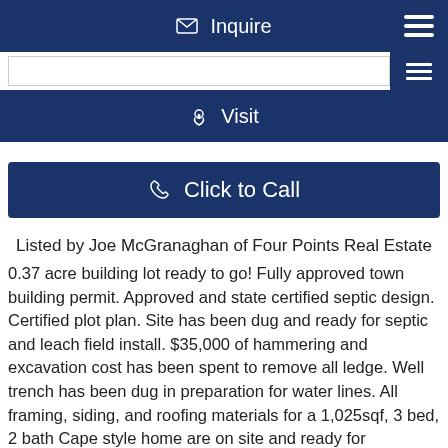Inquire
Visit
Click to Call
Listed by Joe McGranaghan of Four Points Real Estate
0.37 acre building lot ready to go! Fully approved town building permit. Approved and state certified septic design. Certified plot plan. Site has been dug and ready for septic and leach field install. $35,000 of hammering and excavation cost has been spent to remove all ledge. Well trench has been dug in preparation for water lines. All framing, siding, and roofing materials for a 1,025sqf, 3 bed, 2 bath Cape style home are on site and ready for assembly. House kit includes a full set of 11x17 drawings. Seller offering a $4,000 concession towards concrete slab. Septic and leach field, well, concrete slab, finish